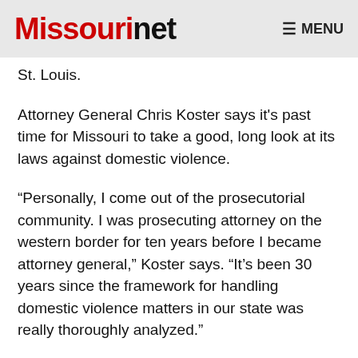Missourinet  MENU
St. Louis.
Attorney General Chris Koster says it's past time for Missouri to take a good, long look at its laws against domestic violence.
“Personally, I come out of the prosecutorial community. I was prosecuting attorney on the western border for ten years before I became attorney general,” Koster says. “It’s been 30 years since the framework for handling domestic violence matters in our state was really thoroughly analyzed.”
The legislature first moved to address domestic violence in 1980. State lawmakers have periodically address issues